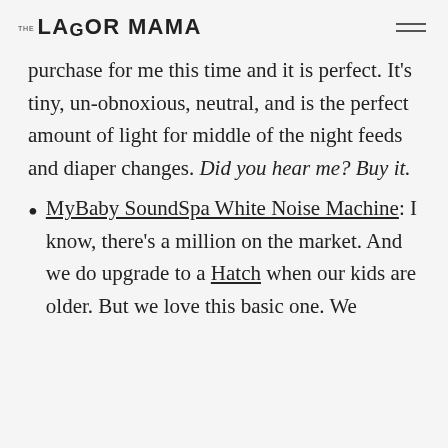THE LABOR MAMA
purchase for me this time and it is perfect. It's tiny, un-obnoxious, neutral, and is the perfect amount of light for middle of the night feeds and diaper changes. Did you hear me? Buy it.
MyBaby SoundSpa White Noise Machine: I know, there's a million on the market. And we do upgrade to a Hatch when our kids are older. But we love this basic one. We